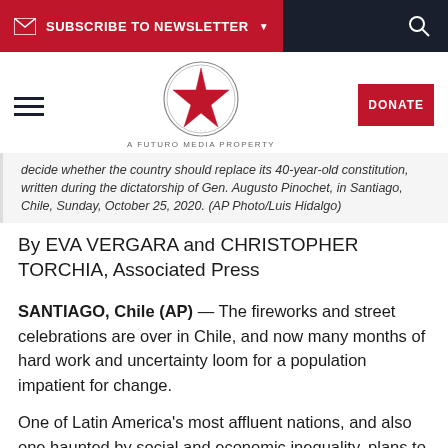SUBSCRIBE TO NEWSLETTER
[Figure (logo): Latino Rebels / Futuro Media star logo circle with text 'A FUTURO MEDIA PROPERTY']
decide whether the country should replace its 40-year-old constitution, written during the dictatorship of Gen. Augusto Pinochet, in Santiago, Chile, Sunday, October 25, 2020. (AP Photo/Luis Hidalgo)
By EVA VERGARA and CHRISTOPHER TORCHIA, Associated Press
SANTIAGO, Chile (AP) — The fireworks and street celebrations are over in Chile, and now many months of hard work and uncertainty loom for a population impatient for change.
One of Latin America's most affluent nations, and also one haunted by social and economic inequality, plans to draft a new constitution to replace the charter introduced during military